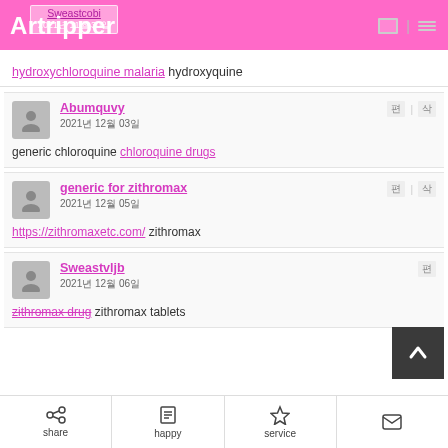Artripper — 2021년 11월 30일
hydroxychloroquine malaria hydroxyquine
Abumquvy — 2021년 12월 03일 — generic chloroquine chloroquine drugs
generic for zithromax — 2021년 12월 05일 — https://zithromaxetc.com/ zithromax
Sweastvljb — 2021년 12월 06일 — zithromax drug zithromax tablets
share | happy | service